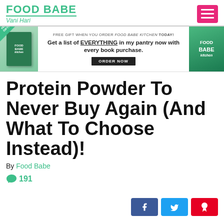FOOD BABE Vani Hari
[Figure (infographic): Food Babe Kitchen book advertisement banner: Free gift when you order Food Babe Kitchen today. Get a list of EVERYTHING in my pantry now with every book purchase. ORDER NOW button.]
Protein Powder To Never Buy Again (And What To Choose Instead)!
By Food Babe
191